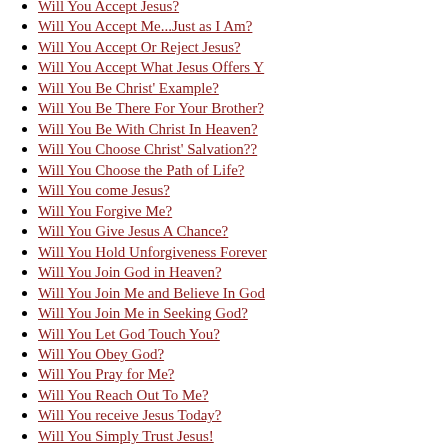Will You Accept Jesus?
Will You Accept Me...Just as I Am?
Will You Accept Or Reject Jesus?
Will You Accept What Jesus Offers Y
Will You Be Christ' Example?
Will You Be There For Your Brother?
Will You Be With Christ In Heaven?
Will You Choose Christ' Salvation??
Will You Choose the Path of Life?
Will You come Jesus?
Will You Forgive Me?
Will You Give Jesus A Chance?
Will You Hold Unforgiveness Forever
Will You Join God in Heaven?
Will You Join Me and Believe In God
Will You Join Me in Seeking God?
Will You Let God Touch You?
Will You Obey God?
Will You Pray for Me?
Will You Reach Out To Me?
Will You receive Jesus Today?
Will You Simply Trust Jesus!
Will You Spend Eternity With Jesus?
Will You Spend Time with Me?
Will You Spend Time with Me?
Will You Take Time For Christ Today
Will You Take time for God?
Will You Tell Me More About Jesus
Wise Men Still Seek Jesus!
With Christ You Can Overcome ANY Ad
With Christ You Can Overcome...